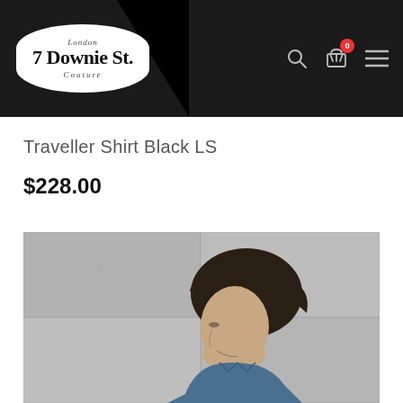7 Downie St. London Couture — navigation header with search, cart (0), and menu icons
Traveller Shirt Black LS
$228.00
[Figure (photo): A man with slicked-back dark hair wearing a denim/chambray shirt, photographed from the side against a concrete wall background]